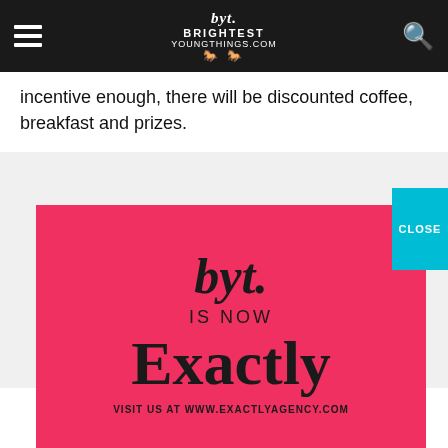byt. BRIGHTEST YOUNGTHINGS.COM [logo with horses]
incentive enough, there will be discounted coffee, breakfast and prizes.
[Figure (advertisement): Pink advertisement banner: byt. script logo, 'IS NOW', 'Exactly' in large serif font, 'VISIT US AT WWW.EXACTLYAGENCY.COM'. A cyan CLOSE button overlaps the top-right corner.]
WEDNESDAY